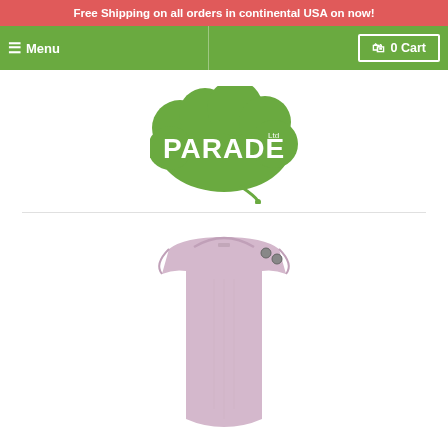Free Shipping on all orders in continental USA on now!
Menu   0 Cart
[Figure (logo): Parade brand logo: white chunky bubble text 'PARADE' with 'Ltd' superscript on a green cloud-shaped background with a curved stem]
[Figure (photo): Lavender/light purple sleeveless baby vest/bodysuit with snap buttons at the shoulder, photographed on a white background, showing the upper torso portion]